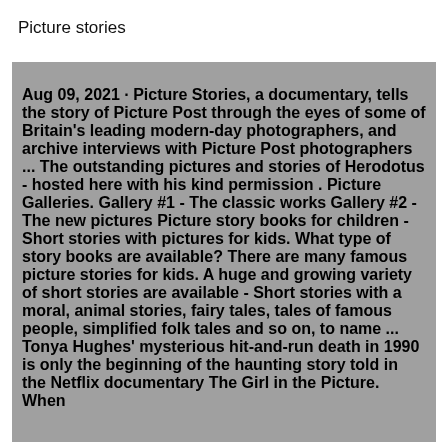Picture stories
Aug 09, 2021 · Picture Stories, a documentary, tells the story of Picture Post through the eyes of some of Britain's leading modern-day photographers, and archive interviews with Picture Post photographers ... The outstanding pictures and stories of Herodotus - hosted here with his kind permission . Picture Galleries. Gallery #1 - The classic works Gallery #2 - The new pictures Picture story books for children - Short stories with pictures for kids. What type of story books are available? There are many famous picture stories for kids. A huge and growing variety of short stories are available - Short stories with a moral, animal stories, fairy tales, tales of famous people, simplified folk tales and so on, to name ... Tonya Hughes' mysterious hit-and-run death in 1990 is only the beginning of the haunting story told in the Netflix documentary The Girl in the Picture. When